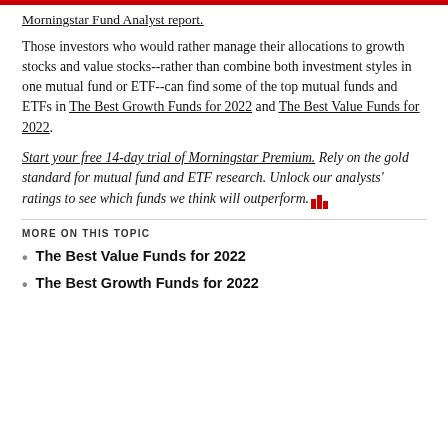Morningstar Fund Analyst report.
Those investors who would rather manage their allocations to growth stocks and value stocks--rather than combine both investment styles in one mutual fund or ETF--can find some of the top mutual funds and ETFs in The Best Growth Funds for 2022 and The Best Value Funds for 2022.
Start your free 14-day trial of Morningstar Premium. Rely on the gold standard for mutual fund and ETF research. Unlock our analysts' ratings to see which funds we think will outperform.
MORE ON THIS TOPIC
The Best Value Funds for 2022
The Best Growth Funds for 2022